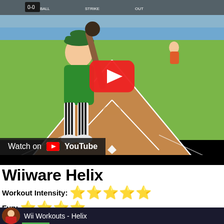[Figure (screenshot): YouTube video thumbnail showing a Wii Sports Baseball game scene with a cartoon Mii character at bat on a baseball diamond. A red YouTube play button is overlaid in the center. A 'Watch on YouTube' bar appears at the bottom left of the video.]
Wiiware Helix
Workout Intensity: ★★★★★
Fun: ★★★★
[Figure (screenshot): Bottom strip showing a video thumbnail with a circular avatar image and the title 'Wii Workouts - Helix' on a dark background with a green progress bar.]